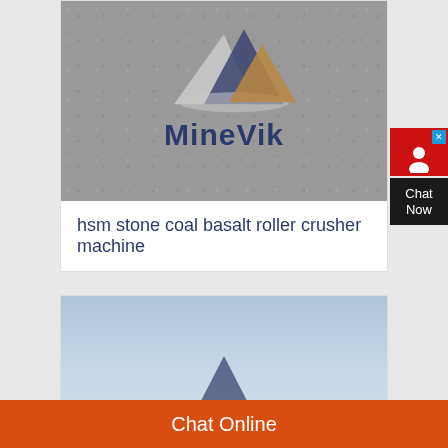[Figure (logo): MineVik company logo on concrete/stone textured grey background. Three triangular mountain shapes: left is light grey, center/back is dark navy blue, right is golden/tan brown. Text 'MineVik' in dark navy bold letters below.]
hsm stone coal basalt roller crusher machine
[Figure (photo): Partial view of MineVik logo on light blue-grey sky background, showing a single dark triangle shape at the bottom of the frame.]
Chat Online